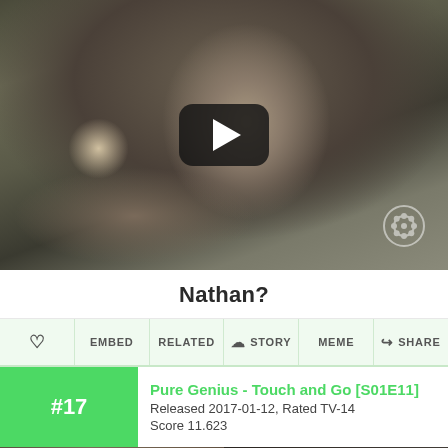[Figure (screenshot): Video thumbnail showing a blurred close-up of a man's face with glasses and gray hair, with a YouTube-style play button in the center and CBS logo watermark bottom right]
Nathan?
♡  EMBED  RELATED  ☁ STORY  MEME  ↪ SHARE
#17  Pure Genius - Touch and Go [S01E11]
Released 2017-01-12, Rated TV-14
Score 11.623
[Figure (screenshot): Bottom partial preview image showing two people from behind in a dark scene]